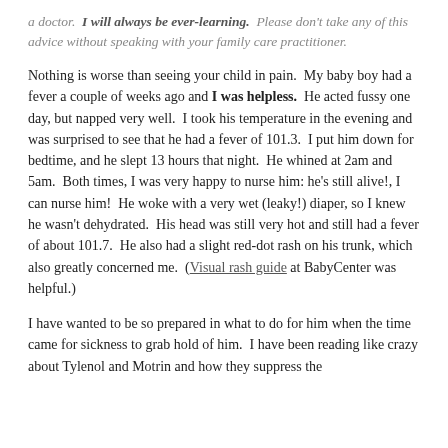a doctor. I will always be ever-learning. Please don't take any of this advice without speaking with your family care practitioner.
Nothing is worse than seeing your child in pain. My baby boy had a fever a couple of weeks ago and I was helpless. He acted fussy one day, but napped very well. I took his temperature in the evening and was surprised to see that he had a fever of 101.3. I put him down for bedtime, and he slept 13 hours that night. He whined at 2am and 5am. Both times, I was very happy to nurse him: he's still alive!, I can nurse him! He woke with a very wet (leaky!) diaper, so I knew he wasn't dehydrated. His head was still very hot and still had a fever of about 101.7. He also had a slight red-dot rash on his trunk, which also greatly concerned me. (Visual rash guide at BabyCenter was helpful.)
I have wanted to be so prepared in what to do for him when the time came for sickness to grab hold of him. I have been reading like crazy about Tylenol and Motrin and how they suppress the